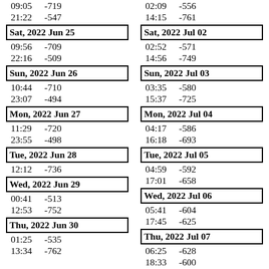| Time | Value | Time | Value |
| --- | --- | --- | --- |
| 09:05 | -719 | 02:09 | -556 |
| 21:22 | -547 | 14:15 | -761 |
| Sat, 2022 Jun 25 |  | Sat, 2022 Jul 02 |  |
| 09:56 | -709 | 02:52 | -571 |
| 22:16 | -509 | 14:56 | -749 |
| Sun, 2022 Jun 26 |  | Sun, 2022 Jul 03 |  |
| 10:44 | -710 | 03:35 | -580 |
| 23:07 | -494 | 15:37 | -725 |
| Mon, 2022 Jun 27 |  | Mon, 2022 Jul 04 |  |
| 11:29 | -720 | 04:17 | -586 |
| 23:55 | -498 | 16:18 | -693 |
| Tue, 2022 Jun 28 |  | Tue, 2022 Jul 05 |  |
| 12:12 | -736 | 04:59 | -592 |
| Wed, 2022 Jun 29 |  | 17:01 | -658 |
| 00:41 | -513 | Wed, 2022 Jul 06 |  |
| 12:53 | -752 | 05:41 | -604 |
| Thu, 2022 Jun 30 |  | 17:45 | -625 |
| 01:25 | -535 | Thu, 2022 Jul 07 |  |
| 13:34 | -762 | 06:25 | -628 |
|  |  | 18:33 | -600 |